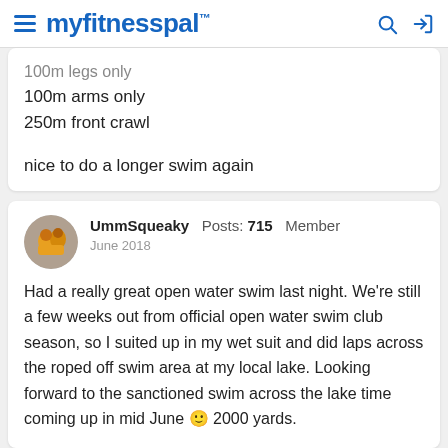myfitnesspal
100m legs only
100m arms only
250m front crawl

nice to do a longer swim again
UmmSqueaky Posts: 715 Member
June 2018

Had a really great open water swim last night. We're still a few weeks out from official open water swim club season, so I suited up in my wet suit and did laps across the roped off swim area at my local lake. Looking forward to the sanctioned swim across the lake time coming up in mid June 🙂 2000 yards.